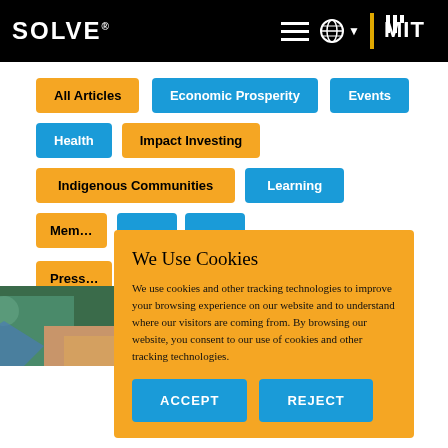SOLVE MIT
All Articles
Economic Prosperity
Events
Health
Impact Investing
Indigenous Communities
Learning
Mem...
Press...
We Use Cookies
We use cookies and other tracking technologies to improve your browsing experience on our website and to understand where our visitors are coming from. By browsing our website, you consent to our use of cookies and other tracking technologies.
ACCEPT
REJECT